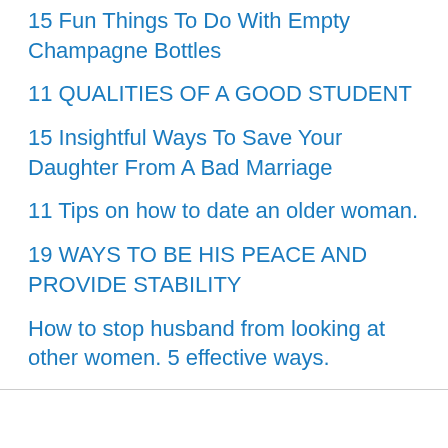15 Fun Things To Do With Empty Champagne Bottles
11 QUALITIES OF A GOOD STUDENT
15 Insightful Ways To Save Your Daughter From A Bad Marriage
11 Tips on how to date an older woman.
19 WAYS TO BE HIS PEACE AND PROVIDE STABILITY
How to stop husband from looking at other women. 5 effective ways.